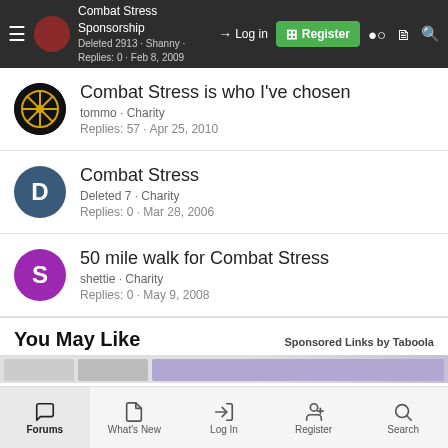Combat Stress Sponsorship — Deleted 2913 · Shanny · Replies: 0 · Feb 8, 2009 — Log in | Register
Combat Stress is who I've chosen — tommo · Charity — Replies: 57 · Apr 25, 2010
Combat Stress — Deleted 7 · Charity — Replies: 0 · Mar 28, 2006
50 mile walk for Combat Stress — shettie · Charity — Replies: 0 · May 9, 2008
You May Like
Sponsored Links by Taboola
Forums | What's New | Log In | Register | Search